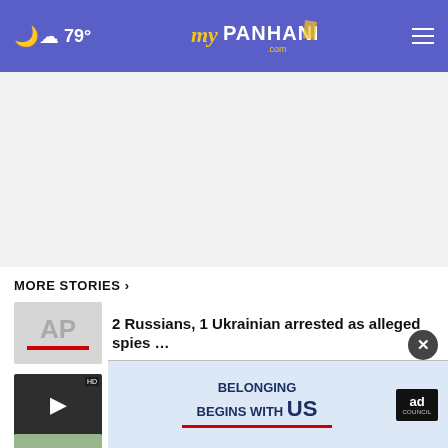79° myPanhandle.com
[Figure (other): Advertisement placeholder (blank gray area)]
MORE STORIES ›
2 Russians, 1 Ukrainian arrested as alleged spies …
VIDEO: Florida man crashes while fleeing deputies, …
resources available
[Figure (other): Ad Council banner: BELONGING BEGINS WITH US]